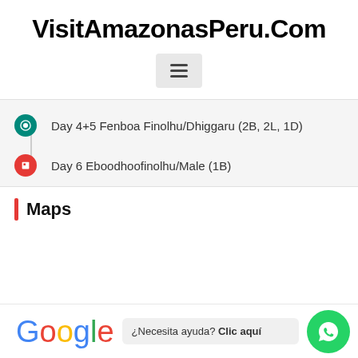VisitAmazonasPeru.Com
[Figure (other): Hamburger menu button icon]
Day 4+5 Fenboa Finolhu/Dhiggaru (2B, 2L, 1D)
Day 6 Eboodhoofinolhu/Male (1B)
Maps
[Figure (other): Google Maps embed area (blank)]
[Figure (logo): Google logo]
¿Necesita ayuda? Clic aquí
[Figure (other): WhatsApp chat button (green circle with phone icon)]